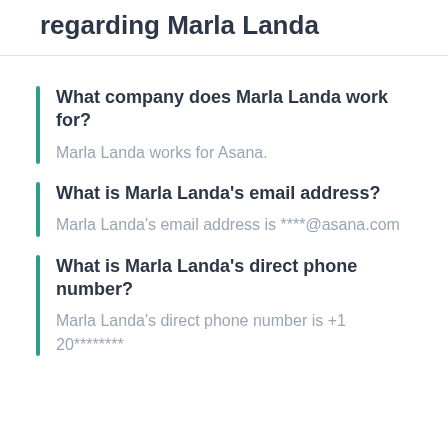regarding Marla Landa
What company does Marla Landa work for?
Marla Landa works for Asana.
What is Marla Landa's email address?
Marla Landa's email address is ****@asana.com
What is Marla Landa's direct phone number?
Marla Landa's direct phone number is +1 20********